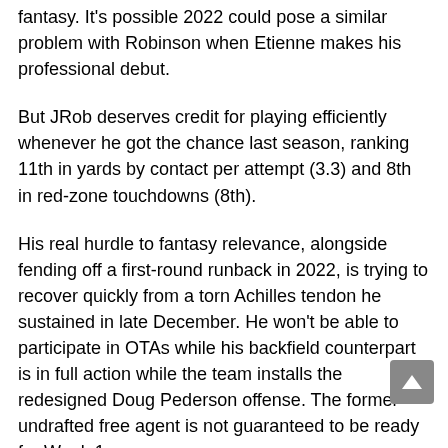fantasy. It's possible 2022 could pose a similar problem with Robinson when Etienne makes his professional debut.
But JRob deserves credit for playing efficiently whenever he got the chance last season, ranking 11th in yards by contact per attempt (3.3) and 8th in red-zone touchdowns (8th).
His real hurdle to fantasy relevance, alongside fending off a first-round runback in 2022, is trying to recover quickly from a torn Achilles tendon he sustained in late December. He won't be able to participate in OTAs while his backfield counterpart is in full action while the team installs the redesigned Doug Pederson offense. The former undrafted free agent is not guaranteed to be ready for Week 1.